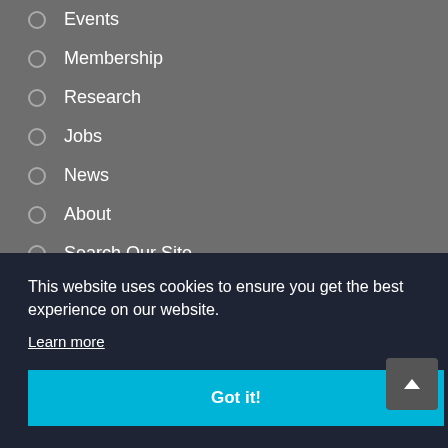Events
Membership
Research
Jobs
News
About
Search Our Site
This website uses cookies to ensure you get the best experience on our website.
Learn more
Got it!